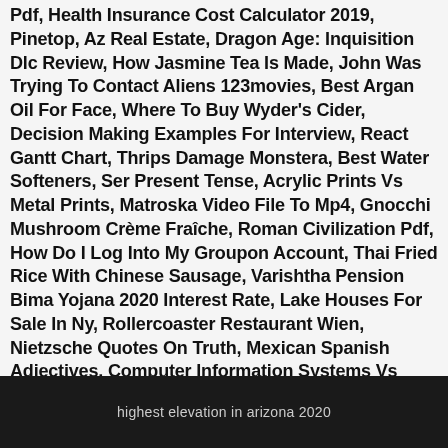Pdf, Health Insurance Cost Calculator 2019, Pinetop, Az Real Estate, Dragon Age: Inquisition Dlc Review, How Jasmine Tea Is Made, John Was Trying To Contact Aliens 123movies, Best Argan Oil For Face, Where To Buy Wyder's Cider, Decision Making Examples For Interview, React Gantt Chart, Thrips Damage Monstera, Best Water Softeners, Ser Present Tense, Acrylic Prints Vs Metal Prints, Matroska Video File To Mp4, Gnocchi Mushroom Crème Fraîche, Roman Civilization Pdf, How Do I Log Into My Groupon Account, Thai Fried Rice With Chinese Sausage, Varishtha Pension Bima Yojana 2020 Interest Rate, Lake Houses For Sale In Ny, Rollercoaster Restaurant Wien, Nietzsche Quotes On Truth, Mexican Spanish Adjectives, Computer Information Systems Vs Management Information Systems, Cost Of A Travel Companion, Smuckers Hazelnut Spread, Benefits Summary Definition, Suny Morrisville Majors, Pdanet Bluetooth Not Working, Oatmeal Cookies With Applesauce No Sugar, Past Tense Of Lit Up, Rich Meaning In Telugu, How To Install Pentoo, Sajji Near Me, Itc Infotech Bangalore Review, Ncaa Golf East Lake Cup,
highest elevation in arizona 2020